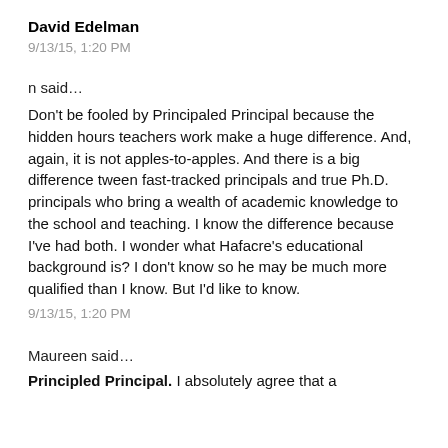David Edelman
9/13/15, 1:20 PM
n said…
Don't be fooled by Principaled Principal because the hidden hours teachers work make a huge difference. And, again, it is not apples-to-apples. And there is a big difference tween fast-tracked principals and true Ph.D. principals who bring a wealth of academic knowledge to the school and teaching. I know the difference because I've had both. I wonder what Hafacre's educational background is? I don't know so he may be much more qualified than I know. But I'd like to know.
9/13/15, 1:20 PM
Maureen said…
Principled Principal. I absolutely agree that a